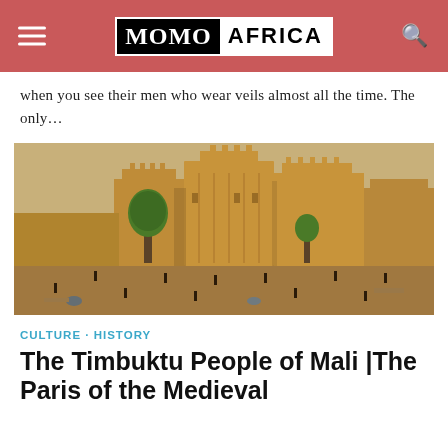MOMO AFRICA
when you see their men who wear veils almost all the time. The only…
[Figure (photo): Aerial view of the Great Mosque of Djenné in Mali, a large Sudano-Sahelian style mud brick mosque with prominent minarets, surrounded by a busy market square with people and trees.]
CULTURE · HISTORY
The Timbuktu People of Mali |The Paris of the Medieval World